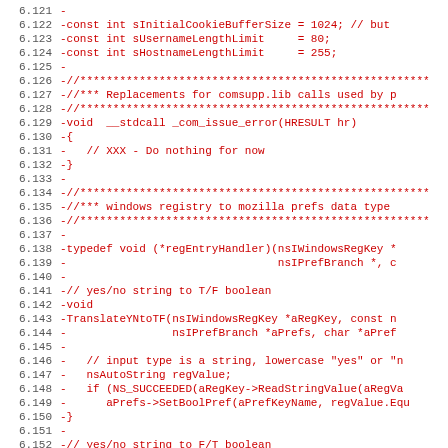[Figure (screenshot): Code diff view showing removed lines (prefixed with '-') in red monospace font, with line numbers 6.121 through 6.152. The code appears to be C++ source code related to cookie buffer sizes, COM error handling, registry to Mozilla prefs data type translation, and boolean string conversion functions.]